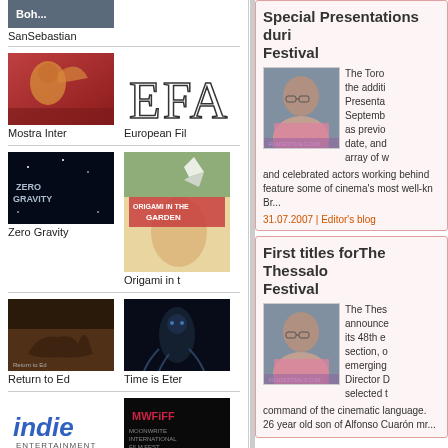[Figure (photo): SanSebastian film festival thumbnail image (partial, top cropped)]
SanSebastian
[Figure (photo): Mostra Inter film festival thumbnail with lion sculpture]
[Figure (logo): EFA (European Film Academy) logo]
Mostra Inter
European Fil
[Figure (photo): Zero Gravity film thumbnail - dark space background]
[Figure (photo): Origami in the Garden film poster]
Zero Gravity
Origami in t
[Figure (photo): Return to Ed film thumbnail]
[Figure (photo): Time is Eter film thumbnail - dark underwater figure]
Return to Ed
Time is Eter
[Figure (logo): Indie Entertainment logo]
[Figure (logo): MWFIFF Moonwrite International Film Fest logo]
Special Presentations duri Festival
The Toro the additi Presenta Septemb as previo date, and array of w and celebrated actors working behind feature some of cinema's most well-kn Br...
31.07.2007 | Editor's blog
First titles forThe Thessalo Festival
The Thes announce its 48th e section, o emerging Director D selected t command of the cinematic language. 26 year old son of Alfonso Cuarón mr...